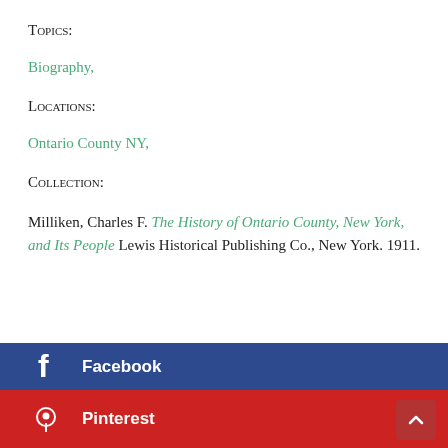Topics:
Biography,
Locations:
Ontario County NY,
Collection:
Milliken, Charles F. The History of Ontario County, New York, and Its People Lewis Historical Publishing Co., New York. 1911.
Facebook
Pinterest